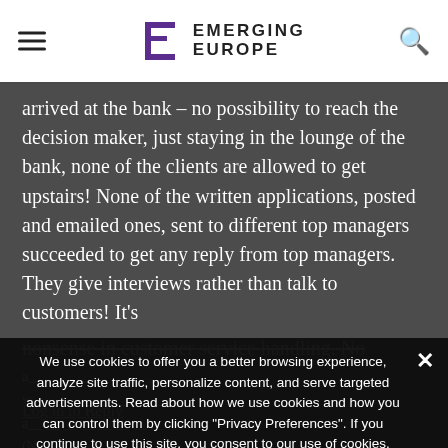EMERGING EUROPE
arrived at the bank – no possibility to reach the decision maker, just staying in the lounge of the bank, none of the clients are allowed to get upstairs! None of the written applications, posted and emailed ones, sent to different top managers succeeded to get any reply from top managers. They give interviews rather than talk to customers! It's nonsense in customer service handling. No corporate director to also be cautious should you expect an play. Ask the links.
Log in to Reply
We use cookies to offer you a better browsing experience, analyze site traffic, personalize content, and serve targeted advertisements. Read about how we use cookies and how you can control them by clicking "Privacy Preferences". If you continue to use this site, you consent to our use of cookies. More...